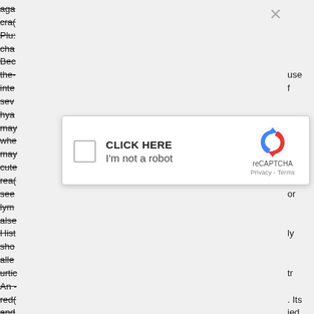aga
crac
Plu:
cha
Bee
the-
inte
sev
hya
may
whe
may
cute
rea(
see
lym
alse
Hist
sho
alle
urtic
An -
red(
and
con
[Figure (screenshot): reCAPTCHA dialog box with close button (X), checkbox, 'CLICK HERE' text, 'I'm not a robot' text, reCAPTCHA logo, and Privacy - Terms links]
use
f



;

or

ly

tr

. Its
ied